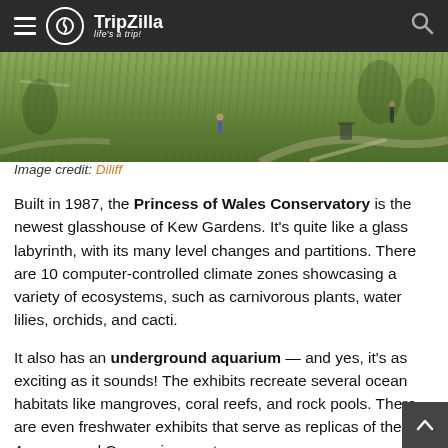TripZilla — life's a trip!
[Figure (photo): Outdoor green lawn/park area at Kew Gardens, showing grass, pathways, trees and visitors in the distance]
Image credit: Diliff
Built in 1987, the Princess of Wales Conservatory is the newest glasshouse of Kew Gardens. It's quite like a glass labyrinth, with its many level changes and partitions. There are 10 computer-controlled climate zones showcasing a variety of ecosystems, such as carnivorous plants, water lilies, orchids, and cacti.
It also has an underground aquarium — and yes, it's as exciting as it sounds! The exhibits recreate several ocean habitats like mangroves, coral reefs, and rock pools. There are even freshwater exhibits that serve as replicas of the Amazon and Congo river systems.